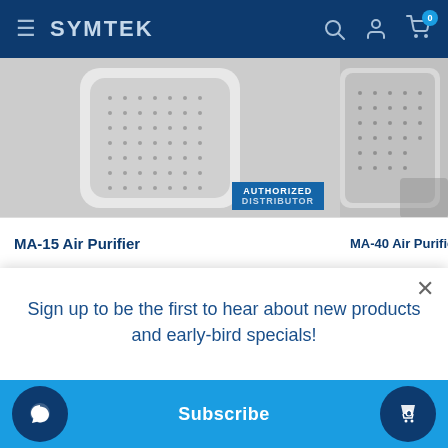SYMTEK
[Figure (photo): MA-15 Air Purifier product photo with AUTHORIZED DISTRIBUTOR badge overlay]
[Figure (photo): MA-40 Air Purifier product photo (partially visible)]
MA-15 Air Purifier
MA-40 Air Purifier
Sign up to be the first to hear about new products and early-bird specials!
Your email
Subscribe